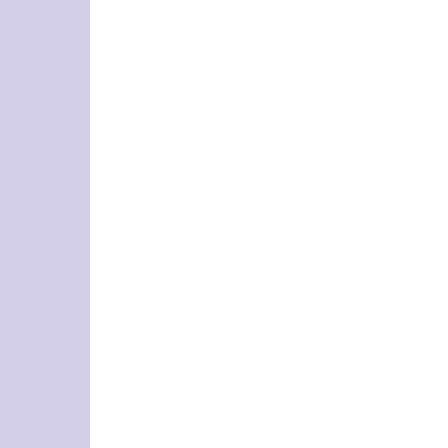The provisional cast on makes it totally off at your bottom edge, but still get the are worked differently down there once y Ordinarily I just work up from a cast on just straight. The provisional cast on allo I'm not quite sure I understand your que are you wondering about the yarn scrap simply transfer your stitches back from th the scrap. If I'm not understanding you co
Anonymous  January 6, 2016 at 2:45 PM
Oh dear.....so if I left my scrap yarn in an wrong...so when I do my provisional cast needles through the space where I too never stated a hat with a provisional cas problem...I think I'm just confused....the scrap yarn the edges will b just loops. making sense :)
[Figure (other): Advertisement banner for VENUS women's fashion with logo, title 'Women's Fashion | Shop Online | VENUS', description text, venus.com link, a product image, and a blue arrow button]